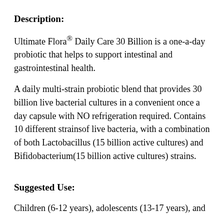Description:
Ultimate Flora® Daily Care 30 Billion is a one-a-day probiotic that helps to support intestinal and gastrointestinal health.
A daily multi-strain probiotic blend that provides 30 billion live bacterial cultures in a convenient once a day capsule with NO refrigeration required. Contains 10 different strainsof live bacteria, with a combination of both Lactobacillus (15 billion active cultures) and Bifidobacterium(15 billion active cultures) strains.
Suggested Use:
Children (6-12 years), adolescents (13-17 years), and